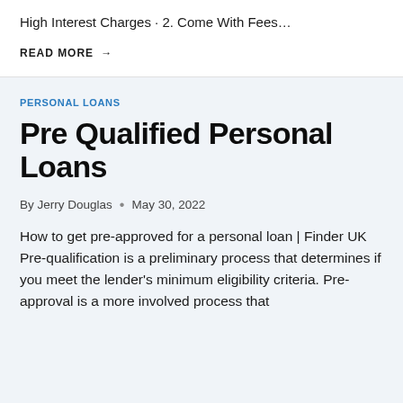High Interest Charges · 2. Come With Fees…
READ MORE →
PERSONAL LOANS
Pre Qualified Personal Loans
By Jerry Douglas • May 30, 2022
How to get pre-approved for a personal loan | Finder UK Pre-qualification is a preliminary process that determines if you meet the lender's minimum eligibility criteria. Pre-approval is a more involved process that